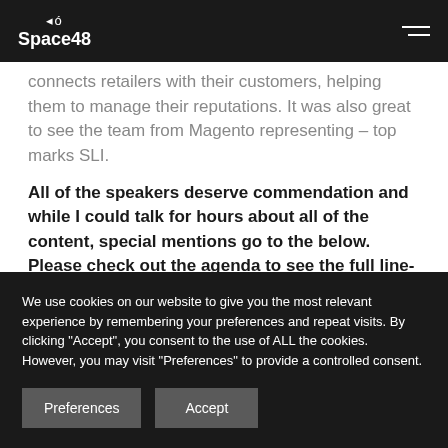Space48
connects retailers with their customers, helping them to manage their reputations. It was also great to see the team from Magento representing – top marks SLI.
All of the speakers deserve commendation and while I could talk for hours about all of the content, special mentions go to the below. Please check out the agenda to see the full line-up.
We use cookies on our website to give you the most relevant experience by remembering your preferences and repeat visits. By clicking "Accept", you consent to the use of ALL the cookies. However, you may visit "Preferences" to provide a controlled consent.